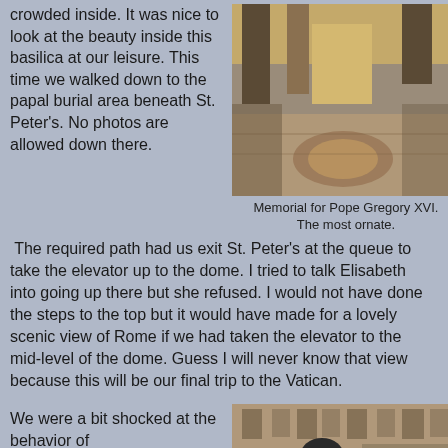crowded inside. It was nice to look at the beauty inside this basilica at our leisure. This time we walked down to the papal burial area beneath St. Peter's. No photos are allowed down there.
[Figure (photo): Interior of St. Peter's Basilica showing ornate marble floor with decorative compass rose pattern and gilded columns]
Memorial for Pope Gregory XVI. The most ornate.
The required path had us exit St. Peter's at the queue to take the elevator up to the dome. I tried to talk Elisabeth into going up there but she refused. I would not have done the steps to the top but it would have made for a lovely scenic view of Rome if we had taken the elevator to the mid-level of the dome. Guess I will never know that view because this will be our final trip to the Vatican.
We were a bit shocked at the behavior of
[Figure (photo): Person wearing a dark hat inside what appears to be a religious or ornate building]